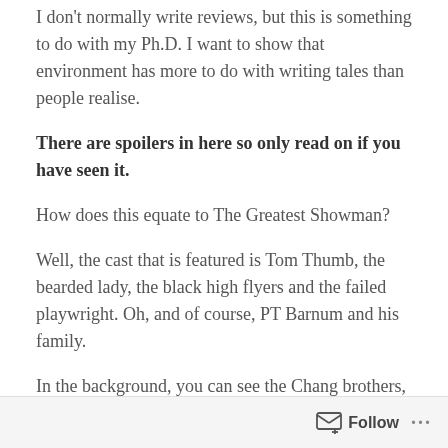I don't normally write reviews, but this is something to do with my Ph.D. I want to show that environment has more to do with writing tales than people realise.
There are spoilers in here so only read on if you have seen it.
How does this equate to The Greatest Showman?
Well, the cast that is featured is Tom Thumb, the bearded lady, the black high flyers and the failed playwright. Oh, and of course, PT Barnum and his family.
In the background, you can see the Chang brothers, albinos, the tattooed man, the tallest man, the fattest man... Oddly it is these background characters that will be known in history. Google the Chang brothers
Follow ...